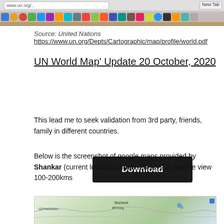[Figure (screenshot): Browser window screenshot showing a webpage with macOS dock at the bottom]
Source: United Nations
https://www.un.org/Depts/Cartographic/map/profile/world.pdf
UN World Map' Update 20 October, 2020
[Figure (screenshot): Download button (black rectangle with white bold text 'Download')]
This lead me to seek validation from 3rd party, friends, family in different countries.
Below is the screenshot of google maps provided by Shankar (current location Oman, 23.11.'20) Satelite view 100-200kms
[Figure (map): Google Maps satellite view screenshot showing Uzbekistan region, 100-200kms zoom level]